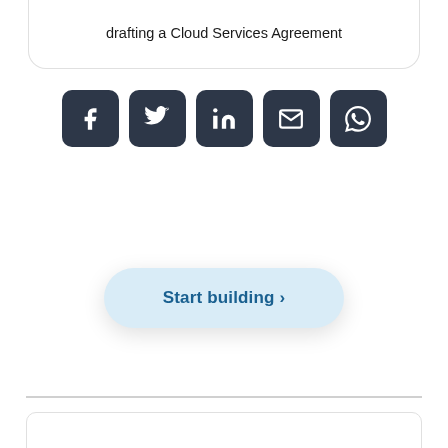drafting a Cloud Services Agreement
[Figure (infographic): Row of five dark square social share buttons: Facebook, Twitter, LinkedIn, Email, WhatsApp]
[Figure (other): Start building button with right chevron arrow, light blue pill-shaped button with shadow]
[Figure (other): Horizontal grey divider line]
[Figure (other): Bottom card partial outline]